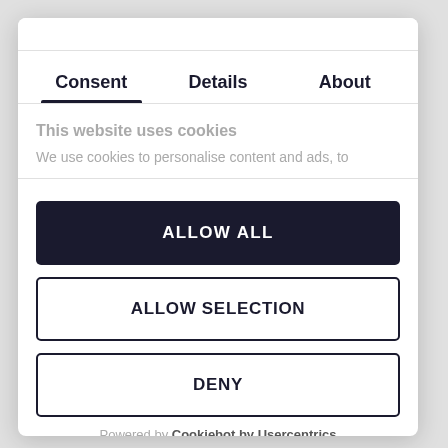Consent | Details | About
This website uses cookies
We use cookies to personalise content and ads, to
ALLOW ALL
ALLOW SELECTION
DENY
Powered by Cookiebot by Usercentrics